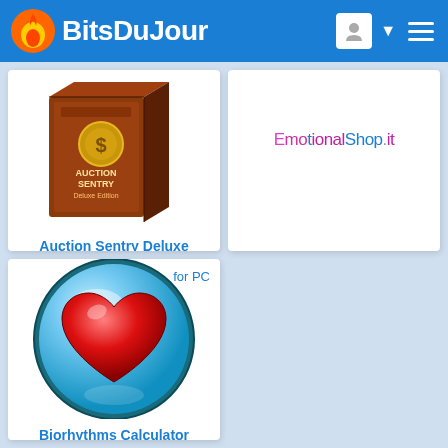BitsDuJour
[Figure (screenshot): Auction Sentry Deluxe software box image]
Auction Sentry Deluxe
[Figure (logo): EmotionalShop.it logo text in pink/blue colors]
EmotionalShop
[Figure (illustration): Biorhythms Calculator icon - red heart inside blue glossy circle, with 'for PC' label]
Biorhythms Calculator